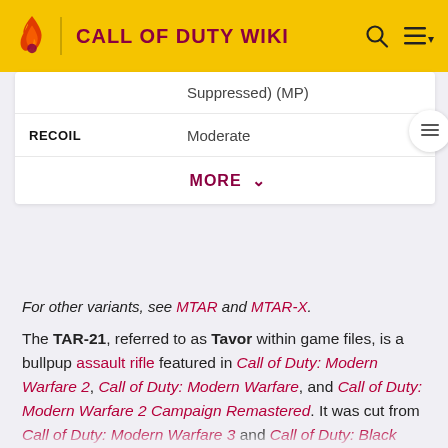CALL OF DUTY WIKI
|  |  |
| --- | --- |
|  | Suppressed) (MP) |
| RECOIL | Moderate |
|  | MORE ∨ |
For other variants, see MTAR and MTAR-X.
The TAR-21, referred to as Tavor within game files, is a bullpup assault rifle featured in Call of Duty: Modern Warfare 2, Call of Duty: Modern Warfare, and Call of Duty: Modern Warfare 2 Campaign Remastered. It was cut from Call of Duty: Modern Warfare 3 and Call of Duty: Black Ops II.